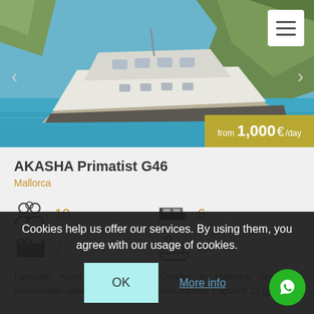[Figure (photo): Hero image of a white motor yacht on turquoise water near rocky cliffs, with a hamburger menu icon in the top right and a golden price badge showing 'from 1,000 € /day' in the bottom right of the image.]
AKASHA Primatist G46
Mallorca
[Figure (infographic): Four icons showing yacht amenities: people icon with '10', bed/cabin icon with '6', double bed icon with '2', shower/bath icon with '2'.]
Fantastic Yacht for Day Boat Charter in Mallorca. Spacious, comfortable, speed, economic fuel consumption. Capacity 12 persons.
Cookies help us offer our services. By using them, you agree with our usage of cookies.